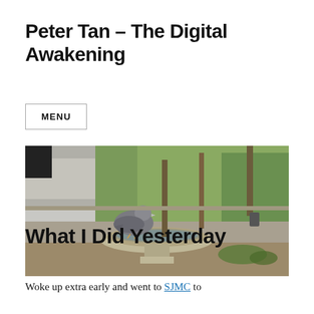Peter Tan – The Digital Awakening
MENU
[Figure (photo): A pigeon standing on a stone bird bath or fountain ledge, with green foliage and a stone wall in the background]
What I Did Yesterday
Woke up extra early and went to SJMC to